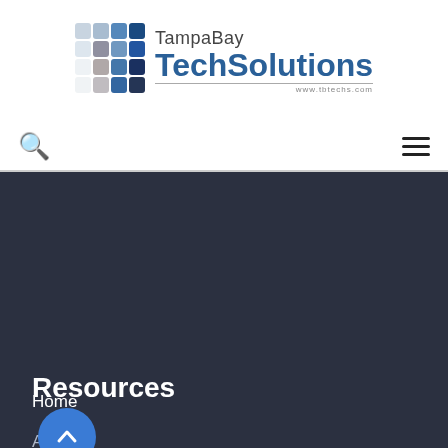[Figure (logo): TampaBay TechSolutions logo with grid of colored squares and website URL www.tbtechs.com]
Search icon and hamburger menu icon navigation bar
Resources
Home
About